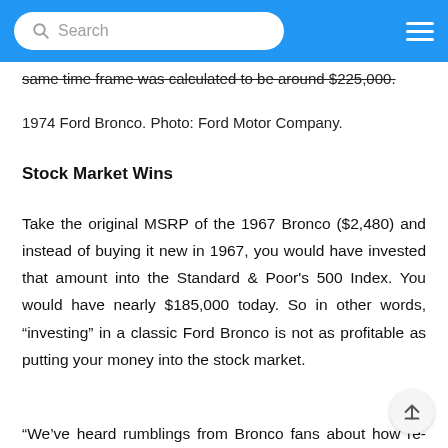Search
same time frame was calculated to be around $225,000.
1974 Ford Bronco. Photo: Ford Motor Company.
Stock Market Wins
Take the original MSRP of the 1967 Bronco ($2,480) and instead of buying it new in 1967, you would have invested that amount into the Standard & Poor's 500 Index. You would have nearly $185,000 today. So in other words, “investing” in a classic Ford Bronco is not as profitable as putting your money into the stock market.
“We’ve heard rumblings from Bronco fans about how re-sale on classics is through the roof and climbing higher.”